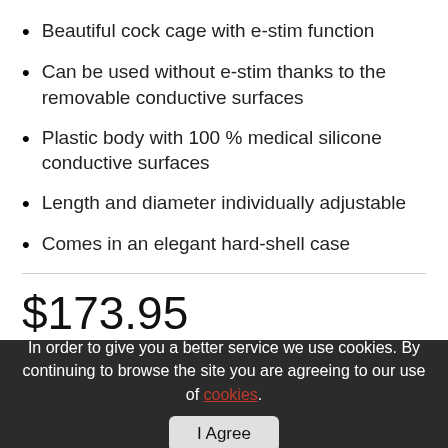Beautiful cock cage with e-stim function
Can be used without e-stim thanks to the removable conductive surfaces
Plastic body with 100 % medical silicone conductive surfaces
Length and diameter individually adjustable
Comes in an elegant hard-shell case
$173.95
In Stock Now!
In order to give you a better service we use cookies. By continuing to browse the site you are agreeing to our use of cookies.